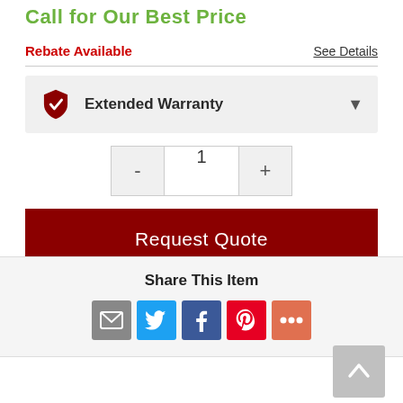Call for Our Best Price
Rebate Available
See Details
Extended Warranty
1
Request Quote
Share This Item
[Figure (infographic): Social share icons: Email, Twitter, Facebook, Pinterest, More]
[Figure (other): Scroll to top button with upward arrow]